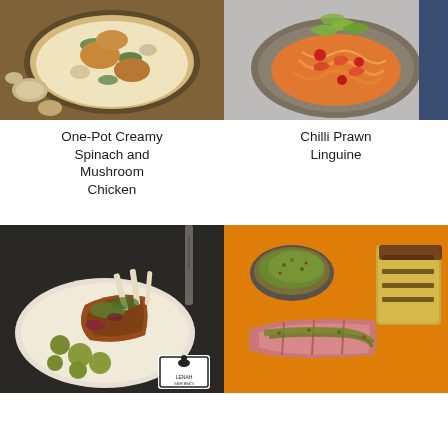[Figure (photo): Top-down view of One-Pot Creamy Spinach and Mushroom Chicken in a pan with mushrooms on the side]
One-Pot Creamy Spinach and Mushroom Chicken
[Figure (photo): Top-down view of Chilli Prawn Linguine with salad greens on a decorative plate]
Chilli Prawn Linguine
[Figure (photo): Plated lamb rack with Brussels sprouts and microgreens, Lenah brand stamp visible]
[Figure (photo): Sliced beef with chimichurri sauce and grilled polenta on orange board]